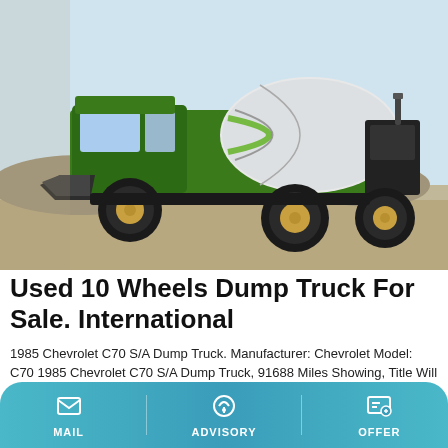[Figure (photo): Green self-loading concrete mixer truck / dump truck on a gravel/sandy outdoor site. The truck has large black tires, green body with white rotating drum, and a front loading bucket. Sky visible in background.]
Used 10 Wheels Dump Truck For Sale. International
1985 Chevrolet C70 S/A Dump Truck. Manufacturer: Chevrolet Model: C70 1985 Chevrolet C70 S/A Dump Truck, 91688 Miles Showing, Title Will Be Marked Miles Exempt, GM 6.0L V-8 Gas Engine, 5 Speed Transmission w/ 2 Speed Axle, Power Steering, RH Step Fuel Tank, Front Tow Hooks, 10' All
MAIL   ADVISORY   OFFER